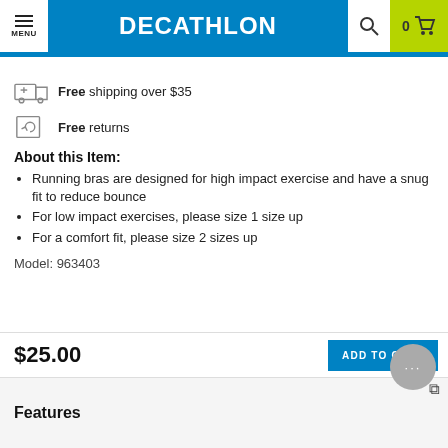MENU | DECATHLON | 0 cart
Free shipping over $35
Free returns
About this Item:
Running bras are designed for high impact exercise and have a snug fit to reduce bounce
For low impact exercises, please size 1 size up
For a comfort fit, please size 2 sizes up
Model: 963403
$25.00
ADD TO CART
Features